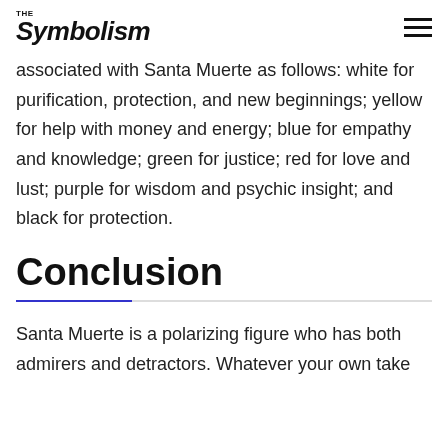THE symbolism
associated with Santa Muerte as follows: white for purification, protection, and new beginnings; yellow for help with money and energy; blue for empathy and knowledge; green for justice; red for love and lust; purple for wisdom and psychic insight; and black for protection.
Conclusion
Santa Muerte is a polarizing figure who has both admirers and detractors. Whatever your own take